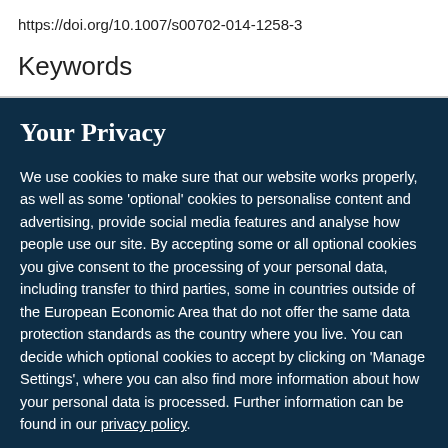https://doi.org/10.1007/s00702-014-1258-3
Keywords
Your Privacy
We use cookies to make sure that our website works properly, as well as some ‘optional’ cookies to personalise content and advertising, provide social media features and analyse how people use our site. By accepting some or all optional cookies you give consent to the processing of your personal data, including transfer to third parties, some in countries outside of the European Economic Area that do not offer the same data protection standards as the country where you live. You can decide which optional cookies to accept by clicking on ‘Manage Settings’, where you can also find more information about how your personal data is processed. Further information can be found in our privacy policy.
Accept all cookies
Manage preferences